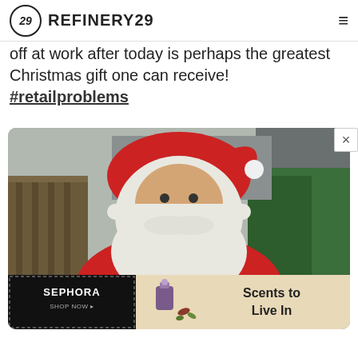REFINERY29
off at work after today is perhaps the greatest Christmas gift one can receive! #retailproblems
[Figure (photo): Large inflatable Santa Claus decoration outdoors, wearing a red suit with 'AmeriCamp' text on it, with a white beard and hat, set against a yard with fencing and greenery in the background. An advertisement banner at the bottom shows Sephora on the left and 'Scents to Live In' on the right.]